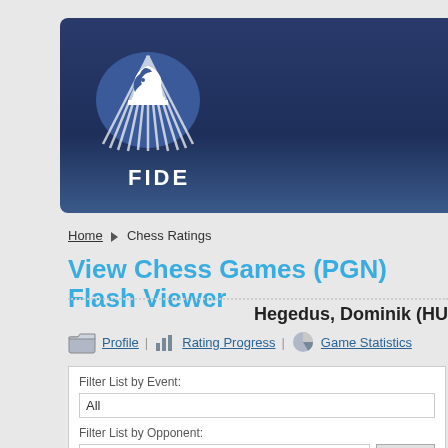[Figure (logo): FIDE logo with knight chess piece in white oval on dark blue banner background, with FIDE text below]
Home ► Chess Ratings
View Chess Games (PGN) Flash Viewer
Hegedus, Dominik (HU…
Profile | Rating Progress | Game Statistics
Filter List by Event: All
Filter List by Opponent: All Filter
Games
25th European Youth Chess Championship 2015 U12 - Open (Porec) Start: 20…